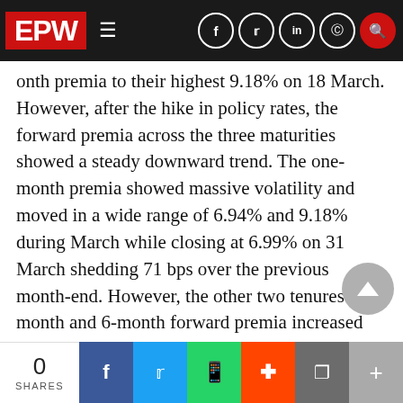EPW navigation bar with logo, hamburger menu, and social/search icons
onth premia to their highest 9.18% on 18 March. However, after the hike in policy rates, the forward premia across the three maturities showed a steady downward trend. The one-month premia showed massive volatility and moved in a wide range of 6.94% and 9.18% during March while closing at 6.99% on 31 March shedding 71 bps over the previous month-end. However, the other two tenures of 3-month and 6-month forward premia increased marginally, signalling that the rupee’s appreciation is likely to be restricted over the next three- to six-month period. The 3-month premia ended at 6.99%, while the 6-month premia at
0 SHARES | Facebook | Twitter | WhatsApp | Reddit | Pocket | Plus